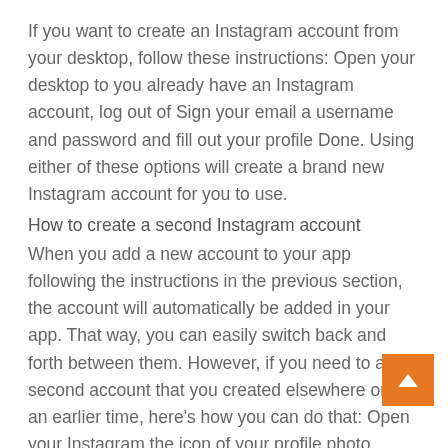If you want to create an Instagram account from your desktop, follow these instructions: Open your desktop to you already have an Instagram account, log out of Sign your email a username and password and fill out your profile Done.
Using either of these options will create a brand new Instagram account for you to use.
How to create a second Instagram account
When you add a new account to your app following the instructions in the previous section, the account will automatically be added in your app. That way, you can easily switch back and forth between them. However, if you need to add a second account that you created elsewhere or at an earlier time, here's how you can do that:
Open your Instagram the icon of your profile photo
[Figure (other): Orange square button with white upward-pointing arrow (scroll-to-top button)]